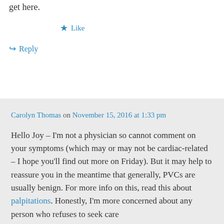get here.
★ Like
↪ Reply
Carolyn Thomas on November 15, 2016 at 1:33 pm
Hello Joy – I'm not a physician so cannot comment on your symptoms (which may or may not be cardiac-related – I hope you'll find out more on Friday). But it may help to reassure you in the meantime that generally, PVCs are usually benign. For more info on this, read this about palpitations. Honestly, I'm more concerned about any person who refuses to seek care